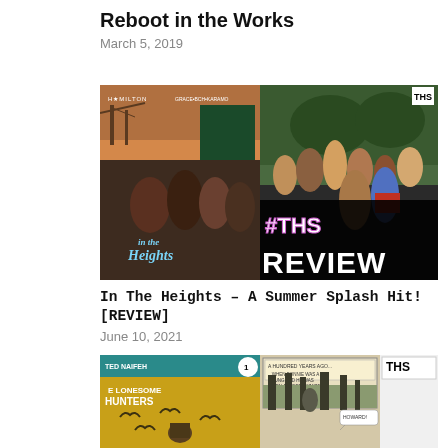Reboot in the Works
March 5, 2019
[Figure (photo): In The Heights movie promotional image and review banner with #THS REVIEW overlay]
In The Heights – A Summer Splash Hit! [REVIEW]
June 10, 2021
[Figure (photo): The Lonesome Hunters comic book cover and interior panel images with THS logo]